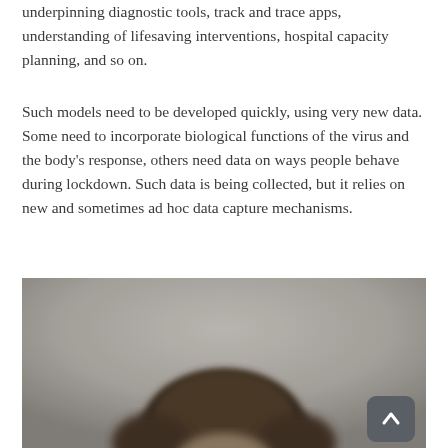underpinning diagnostic tools, track and trace apps, understanding of lifesaving interventions, hospital capacity planning, and so on.
Such models need to be developed quickly, using very new data. Some need to incorporate biological functions of the virus and the body's response, others need data on ways people behave during lockdown. Such data is being collected, but it relies on new and sometimes ad hoc data capture mechanisms.
[Figure (photo): Photograph of a person, showing the top portion of a head with brown hair against a muted grey-beige background. A dark rounded-rectangle back-to-top button with a chevron/caret icon is visible in the bottom-right corner of the image.]